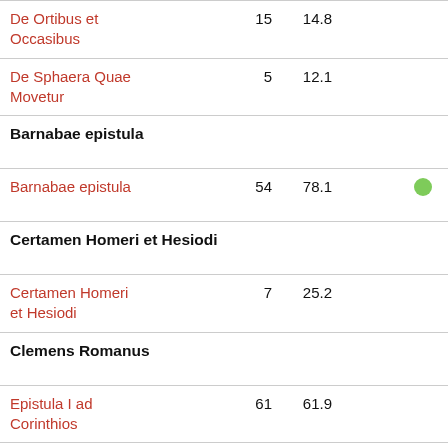| Title | Num1 | Num2 | Dot |
| --- | --- | --- | --- |
| De Ortibus et Occasibus | 15 | 14.8 |  |
| De Sphaera Quae Movetur | 5 | 12.1 |  |
| Barnabae epistula |  |  |  |
| Barnabae epistula | 54 | 78.1 | ● |
| Certamen Homeri et Hesiodi |  |  |  |
| Certamen Homeri et Hesiodi | 7 | 25.2 |  |
| Clemens Romanus |  |  |  |
| Epistula I ad Corinthios | 61 | 61.9 |  |
| Epistula II ad Corinthios | 38 | 122.1 | ● |